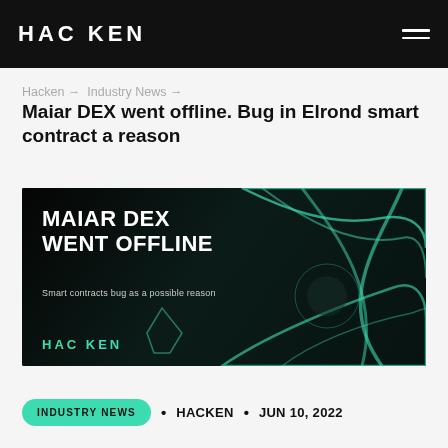HACKEN
Hacken → Industry News →
Maiar DEX went offline. Bug in Elrond smart contract a reason
[Figure (illustration): Dark banner image with teal decorative elements and crystal/glass objects. Large white bold text reads 'MAIAR DEX WENT OFFLINE' with subtitle 'Smart contracts bug as a possible reason'. Hacken logo in teal at bottom left.]
INDUSTRY NEWS • HACKEN • JUN 10, 2022